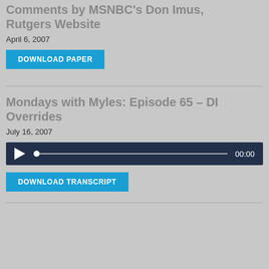Comments by MSNBC's Don Imus, Rutgers Website
April 6, 2007
[Figure (other): DOWNLOAD PAPER button in blue]
Mondays with Myles: Episode 65 – DI Overrides
July 16, 2007
[Figure (other): Audio player with play button, progress bar, and 00:00 timestamp on dark navy background]
[Figure (other): DOWNLOAD TRANSCRIPT button in blue]